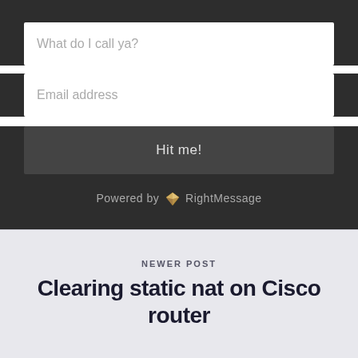What do I call ya?
Email address
Hit me!
Powered by 🔶 RightMessage
NEWER POST
Clearing static nat on Cisco router